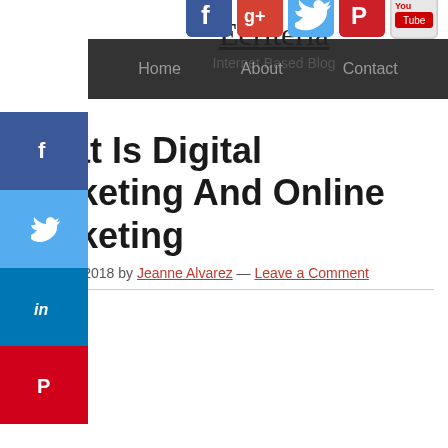Ecriteria
Internet Based Blog
[Figure (screenshot): Follow Us! social media icons: Facebook, Google+, Twitter, Pinterest, YouTube]
[Figure (infographic): Vertical sidebar with Facebook, Twitter, LinkedIn, Pinterest icons]
[Figure (screenshot): Navigation bar with Home, About, Contact links]
What Is Digital Marketing And Online Marketing
October 1, 2018 by Jeanne Alvarez — Leave a Comment